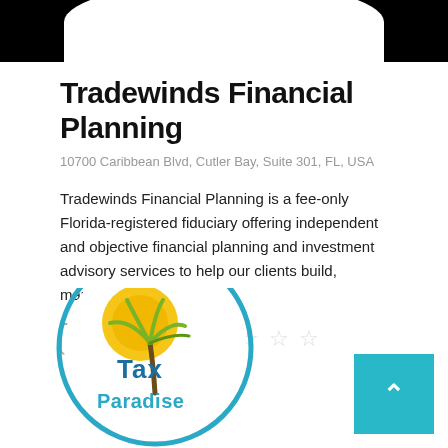[Figure (photo): Black background with white rounded arc at the bottom, forming the bottom of a circular logo]
Tradewinds Financial Planning
10700 Caribbean Blvd, Cutler Bay, Suite 301, FL, USA
Tradewinds Financial Planning is a fee-only Florida-registered fiduciary offering independent and objective financial planning and investment advisory services to help our clients build, manage, grow,...
[Figure (infographic): Two dollar-sign icon boxes and a slash followed by five empty star rating icons]
[Figure (logo): Tax Paradise circular logo with teal border, featuring a palm tree and sun graphic with yellow and green colors, and the text Tax Paradise in blue and teal]
[Figure (other): Teal/cyan colored square button with a white upward-pointing caret arrow]